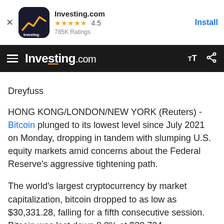[Figure (screenshot): App install banner for Investing.com showing app icon, star rating 4.5 with 785K Ratings, and Install button]
Investing.com (navigation bar with hamburger menu, logo, TT and share icons)
Dreyfuss
HONG KONG/LONDON/NEW YORK (Reuters) - Bitcoin plunged to its lowest level since July 2021 on Monday, dropping in tandem with slumping U.S. equity markets amid concerns about the Federal Reserve's aggressive tightening path.
The world's largest cryptocurrency by market capitalization, bitcoin dropped to as low as $30,331.28, falling for a fifth consecutive session. Bitcoin was last down 9.8% at $30,724.